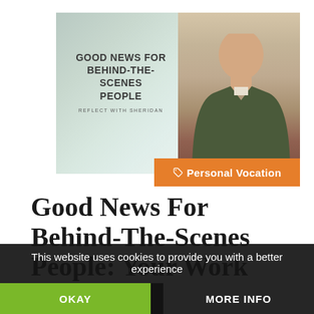[Figure (photo): A composite image showing a book or video cover on the left with text 'GOOD NEWS FOR BEHIND-THE-SCENES PEOPLE / REFLECT WITH SHERIDAN' over a misty teal background, and on the right a man in a dark olive sweater seated in front of a bookshelf. An orange badge at the bottom reads 'Personal Vocation' with a tag icon.]
Good News For Behind-The-Scenes People: Your Work
This website uses cookies to provide you with a better experience
OKAY
MORE INFO